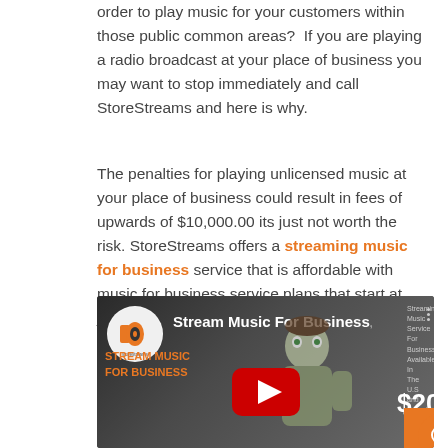order to play music for your customers within those public common areas?  If you are playing a radio broadcast at your place of business you may want to stop immediately and call StoreStreams and here is why.
The penalties for playing unlicensed music at your place of business could result in fees of upwards of $10,000.00 its just not worth the risk. StoreStreams offers a streaming music for business service that is affordable with music for business service plans that start at just $20.00 a month.
[Figure (screenshot): YouTube video thumbnail for 'Stream Music For Business' by StoreStreams, showing an animated character, company logo, orange and white text overlay advertising streaming music service for business with plans starting at $20.00/mo, and a red YouTube play button in the center.]